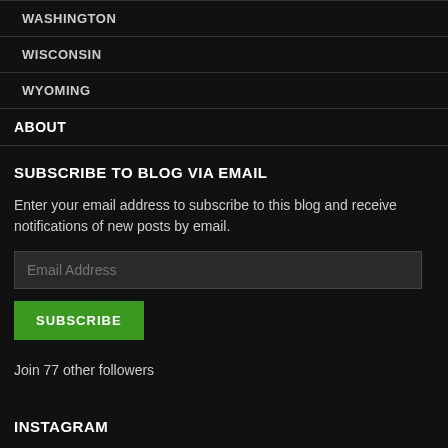WASHINGTON
WISCONSIN
WYOMING
ABOUT
SUBSCRIBE TO BLOG VIA EMAIL
Enter your email address to subscribe to this blog and receive notifications of new posts by email.
Email Address
SUBSCRIBE
Join 77 other followers
INSTAGRAM